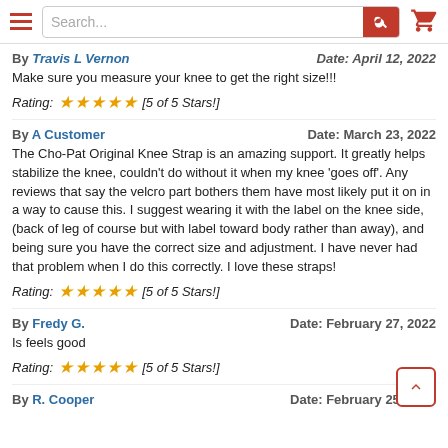Search... [search bar with red button and cart icon]
By Travis L Vernon   Date: April 12, 2022
Make sure you measure your knee to get the right size!!!
Rating: ★★★★★ [5 of 5 Stars!]
By A Customer   Date: March 23, 2022
The Cho-Pat Original Knee Strap is an amazing support. It greatly helps stabilize the knee, couldn't do without it when my knee 'goes off'. Any reviews that say the velcro part bothers them have most likely put it on in a way to cause this. I suggest wearing it with the label on the knee side, (back of leg of course but with label toward body rather than away), and being sure you have the correct size and adjustment. I have never had that problem when I do this correctly. I love these straps!
Rating: ★★★★★ [5 of 5 Stars!]
By Fredy G.   Date: February 27, 2022
Is feels good
Rating: ★★★★★ [5 of 5 Stars!]
By R. Cooper   Date: February 25, 2022